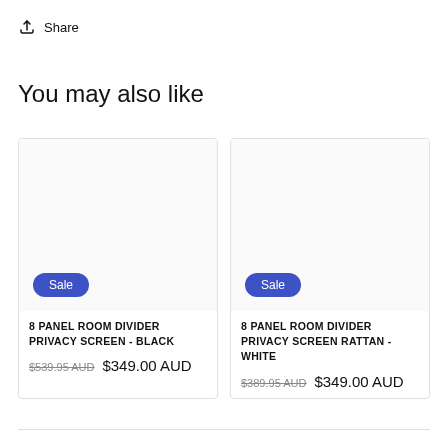Share
You may also like
8 PANEL ROOM DIVIDER PRIVACY SCREEN - BLACK
$539.95 AUD  $349.00 AUD
8 PANEL ROOM DIVIDER PRIVACY SCREEN RATTAN - WHITE
$389.95 AUD  $349.00 AUD